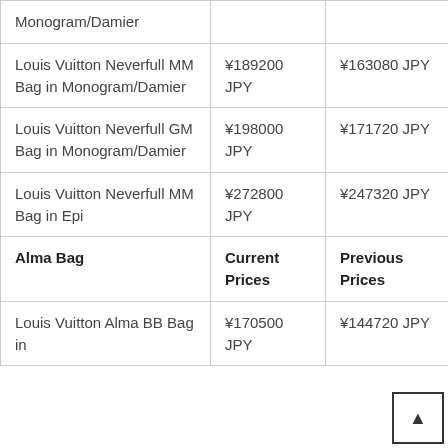|  | Current Prices | Previous Prices |
| --- | --- | --- |
| Monogram/Damier |  |  |
| Louis Vuitton Neverfull MM Bag in Monogram/Damier | ¥189200 JPY | ¥163080 JPY |
| Louis Vuitton Neverfull GM Bag in Monogram/Damier | ¥198000 JPY | ¥171720 JPY |
| Louis Vuitton Neverfull MM Bag in Epi | ¥272800 JPY | ¥247320 JPY |
| Alma Bag | Current Prices | Previous Prices |
| Louis Vuitton Alma BB Bag in Monogram/Damier | ¥170500 JPY | ¥144720 JPY |